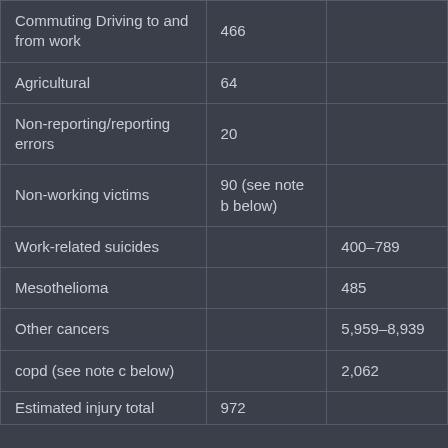| Commuting Driving to and from work | 466 |  |
| Agricultural | 64 |  |
| Non-reporting/reporting errors | 20 |  |
| Non-working victims | 90 (see note b below) |  |
| Work-related suicides |  | 400–789 |
| Mesothelioma |  | 485 |
| Other cancers |  | 5,959–8,939 |
| copd (see note c below) |  | 2,062 |
| Estimated injury total | 972 |  |